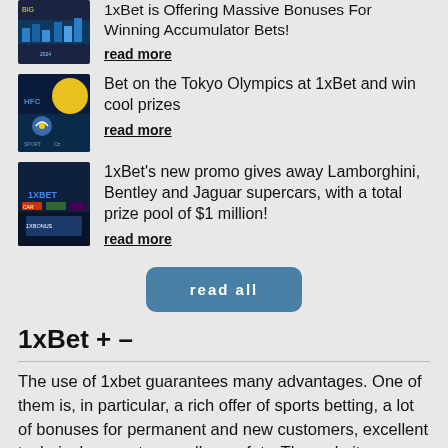[Figure (photo): Thumbnail image with colorful digital/stats background for 1xBet accumulator bets article]
1xBet is Offering Massive Bonuses For Winning Accumulator Bets!
read more
[Figure (photo): Thumbnail image with Tokyo Olympics theme, yellow moon and bicycle]
Bet on the Tokyo Olympics at 1xBet and win cool prizes
read more
[Figure (photo): Thumbnail image with 1xBet logo and supercars promotion]
1xBet's new promo gives away Lamborghini, Bentley and Jaguar supercars, with a total prize pool of $1 million!
read more
read all
1xBet + –
The use of 1xbet guarantees many advantages. One of them is, in particular, a rich offer of sports betting, a lot of bonuses for permanent and new customers, excellent technical support, as well as safety. The website interface is